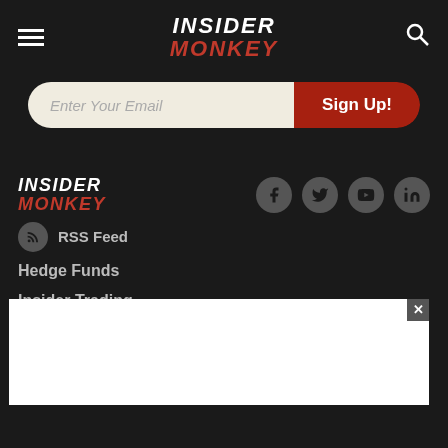Insider Monkey
[Figure (screenshot): Email signup bar with 'Enter Your Email' placeholder and red 'Sign Up!' button]
[Figure (logo): Insider Monkey footer logo]
[Figure (infographic): Social media icons: Facebook, Twitter, YouTube, LinkedIn]
RSS Feed
Hedge Funds
Insider Trading
About Us
Authors
Contact Us
[Figure (screenshot): White popup/ad overlay with close button (×)]